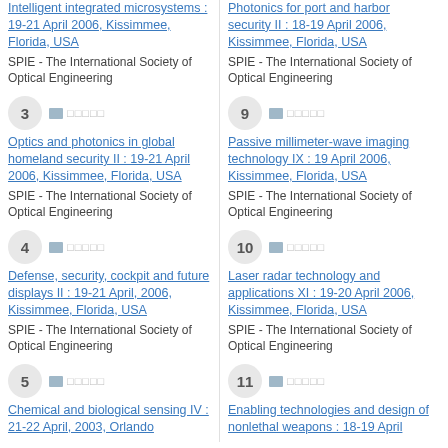3 — Optics and photonics in global homeland security II : 19-21 April 2006, Kissimmee, Florida, USA — SPIE - The International Society of Optical Engineering
9 — Passive millimeter-wave imaging technology IX : 19 April 2006, Kissimmee, Florida, USA — SPIE - The International Society of Optical Engineering
4 — Defense, security, cockpit and future displays II : 19-21 April, 2006, Kissimmee, Florida, USA — SPIE - The International Society of Optical Engineering
10 — Laser radar technology and applications XI : 19-20 April 2006, Kissimmee, Florida, USA — SPIE - The International Society of Optical Engineering
5 — Chemical and biological sensing IV : 21-22 April, 2003, Orlando — SPIE - The International Society of Optical Engineering
11 — Enabling technologies and design of nonlethal weapons : 18-19 April — SPIE - The International Society of Optical Engineering
[top entries partially visible] Intelligent integrated microsystems : 19-21 April 2006, Kissimmee, Florida, USA — SPIE - The International Society of Optical Engineering
[top entries partially visible] Photonics for port and harbor security II : 18-19 April 2006, Kissimmee, Florida, USA — SPIE - The International Society of Optical Engineering